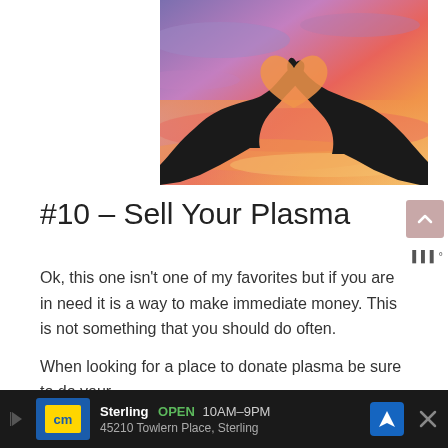[Figure (photo): Silhouette of two hands forming a heart shape against a colorful sunset sky with purple, pink, and orange hues]
#10 – Sell Your Plasma
Ok, this one isn't one of my favorites but if you are in need it is a way to make immediate money. This is not something that you should do often.
When looking for a place to donate plasma be sure to do your re...
[Figure (screenshot): Ad banner for Canadian Tire (cm) Sterling store: OPEN 10AM-9PM, 45210 Towlern Place, Sterling]